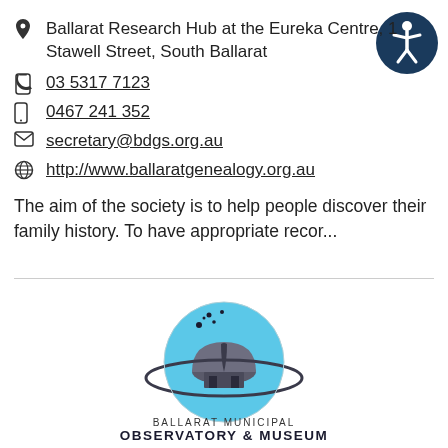Ballarat Research Hub at the Eureka Centre, 1… Stawell Street, South Ballarat
03 5317 7123
0467 241 352
secretary@bdgs.org.au
http://www.ballaratgenealogy.org.au
The aim of the society is to help people discover their family history. To have appropriate recor...
[Figure (logo): Ballarat Municipal Observatory & Museum logo — a blue circle with a dome observatory building and orbital ring, with text 'BALLARAT MUNICIPAL OBSERVATORY & MUSEUM' below]